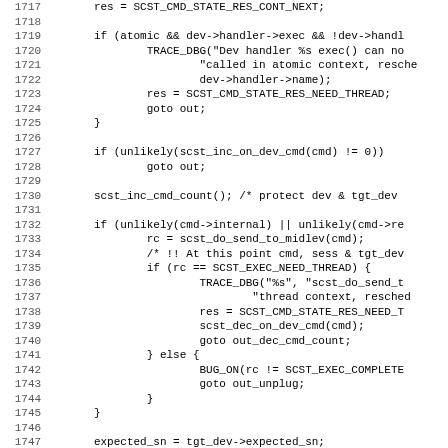[Figure (other): Source code listing showing C code lines 1717-1748, monospace font with line numbers on the left. Code handles SCST command state, atomic context checks, device command processing, and internal command routing.]